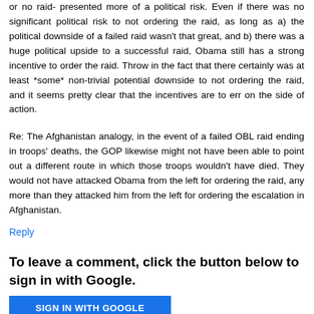or no raid- presented more of a political risk. Even if there was no significant political risk to not ordering the raid, as long as a) the political downside of a failed raid wasn't that great, and b) there was a huge political upside to a successful raid, Obama still has a strong incentive to order the raid. Throw in the fact that there certainly was at least *some* non-trivial potential downside to not ordering the raid, and it seems pretty clear that the incentives are to err on the side of action.
Re: The Afghanistan analogy, in the event of a failed OBL raid ending in troops' deaths, the GOP likewise might not have been able to point out a different route in which those troops wouldn't have died. They would not have attacked Obama from the left for ordering the raid, any more than they attacked him from the left for ordering the escalation in Afghanistan.
Reply
To leave a comment, click the button below to sign in with Google.
SIGN IN WITH GOOGLE